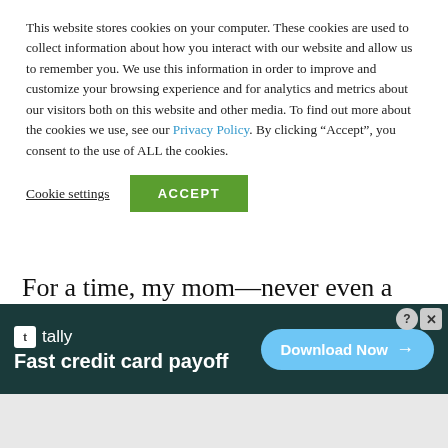This website stores cookies on your computer. These cookies are used to collect information about how you interact with our website and allow us to remember you. We use this information in order to improve and customize your browsing experience and for analytics and metrics about our visitors both on this website and other media. To find out more about the cookies we use, see our Privacy Policy. By clicking “Accept”, you consent to the use of ALL the cookies.
Cookie settings  ACCEPT
For a time, my mom—never even a social drinker—took to draining goblets of red wine in the evenings. Occasionally I’d hear her on the phone, cracking an awkward punch line in search of a joke: “On our street whole families up and disappear.” But by and large my…
[Figure (screenshot): Tally app advertisement banner: dark teal background with Tally logo and text 'Fast credit card payoff', with a 'Download Now' button on the right.]